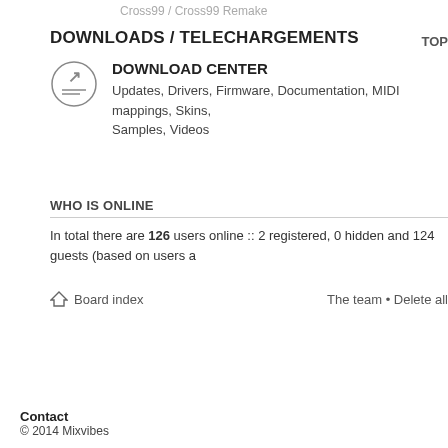Cross99 / Cross99 Remake
DOWNLOADS / TELECHARGEMENTS
TOP
DOWNLOAD CENTER
Updates, Drivers, Firmware, Documentation, MIDI mappings, Skins, Samples, Videos
WHO IS ONLINE
In total there are 126 users online :: 2 registered, 0 hidden and 124 guests (based on users a
Board index
The team • Delete all
Contact
© 2014 Mixvibes